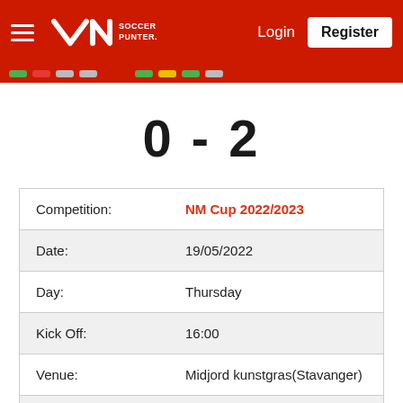Soccer Punter — Login | Register
0 - 2
| Field | Value |
| --- | --- |
| Competition: | NM Cup 2022/2023 |
| Date: | 19/05/2022 |
| Day: | Thursday |
| Kick Off: | 16:00 |
| Venue: | Midjord kunstgras(Stavanger) |
| Weather: | Clouds |